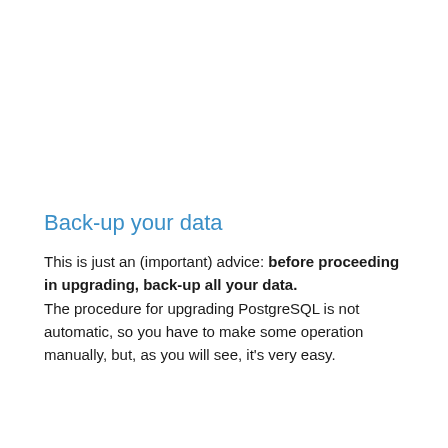Back-up your data
This is just an (important) advice: before proceeding in upgrading, back-up all your data. The procedure for upgrading PostgreSQL is not automatic, so you have to make some operation manually, but, as you will see, it's very easy.